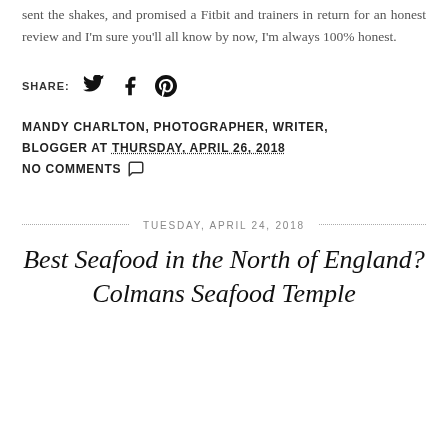sent the shakes, and promised a Fitbit and trainers in return for an honest review and I'm sure you'll all know by now, I'm always 100% honest.
SHARE:
MANDY CHARLTON, PHOTOGRAPHER, WRITER, BLOGGER AT THURSDAY, APRIL 26, 2018
NO COMMENTS
TUESDAY, APRIL 24, 2018
Best Seafood in the North of England? Colmans Seafood Temple